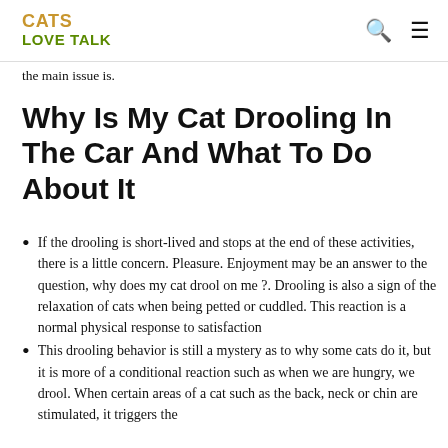CATS LOVE TALK
the main issue is.
Why Is My Cat Drooling In The Car And What To Do About It
If the drooling is short-lived and stops at the end of these activities, there is a little concern. Pleasure. Enjoyment may be an answer to the question, why does my cat drool on me ?. Drooling is also a sign of the relaxation of cats when being petted or cuddled. This reaction is a normal physical response to satisfaction
This drooling behavior is still a mystery as to why some cats do it, but it is more of a conditional reaction such as when we are hungry, we drool. When certain areas of a cat such as the back, neck or chin are stimulated, it triggers the